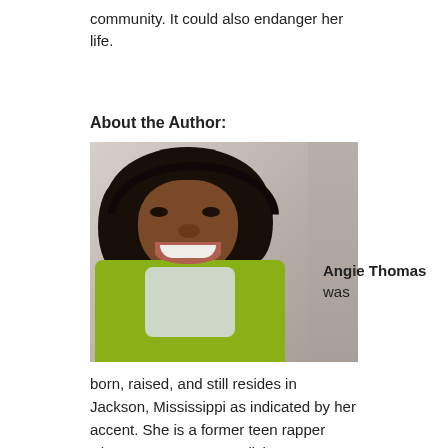community. It could also endanger her life.
About the Author:
[Figure (photo): Portrait photo of Angie Thomas, a Black woman with curly dark hair, wearing a bright green cardigan and light scarf, smiling and leaning against a wall.]
Angie Thomas was born, raised, and still resides in Jackson, Mississippi as indicated by her accent. She is a former teen rapper whose greatest accomplishment was an article about her in Right-On Magazine with a picture included. She holds a BFA in Creative Writing from Belhaven University and an unofficial degree in Hip Hop. She can also still rap if needed. She is an inaugural winner of the Walter Dean Myers Grant 2015, awarded by We Need Diverse Books. Her debut novel, The Hate U Give, was acquired by Balzer + Bray/HarperCollins in